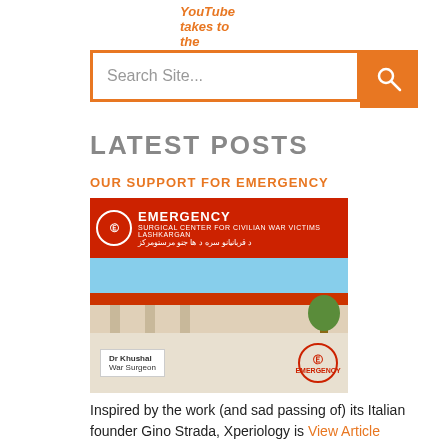YouTube takes to the stage →
LATEST POSTS
OUR SUPPORT FOR EMERGENCY
[Figure (photo): Photo of Dr. Khushal, War Surgeon, standing in front of the Emergency Surgical Center for Civilian War Victims in Lashkargan. Red building with Emergency logo and signage visible.]
Inspired by the work (and sad passing of) its Italian founder Gino Strada, Xperiology is View Article